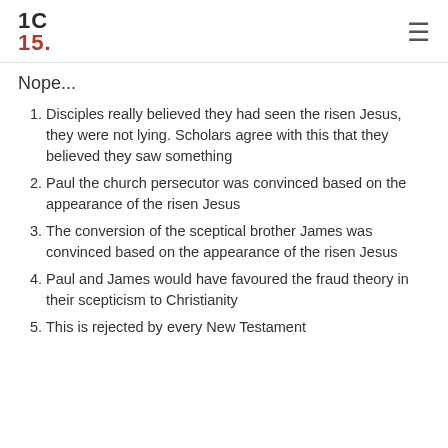1C 15.
Nope...
Disciples really believed they had seen the risen Jesus, they were not lying. Scholars agree with this that they believed they saw something
Paul the church persecutor was convinced based on the appearance of the risen Jesus
The conversion of the sceptical brother James was convinced based on the appearance of the risen Jesus
Paul and James would have favoured the fraud theory in their scepticism to Christianity
This is rejected by every New Testament